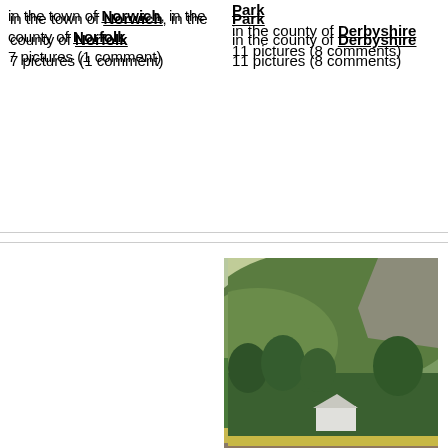in the town of Norwich, in the county of Norfolk
7 pictures (1 comment)
Park
in the county of Derbyshire
11 pictures (8 comments)
[Figure (photo): Snowdonia landscape with hills, trees, and a white building in a field]
Snowdonia
in the town of Llanberis, in the county of Gwynedd
7 pictures (1 comment)
[Figure (photo): St Michael's Mount in Cornwall with sandy beach in the foreground]
[Figure (photo): Large historic manor house with gothic architecture on a green lawn]